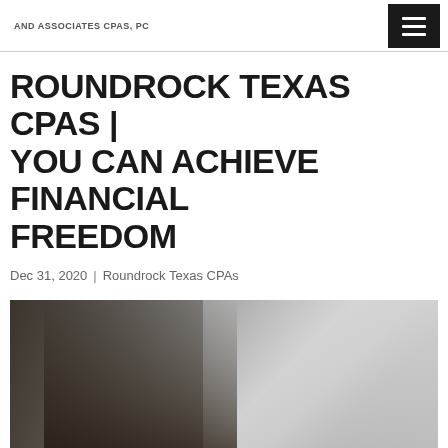AND ASSOCIATES CPAs, PC
ROUNDROCK TEXAS CPAS | YOU CAN ACHIEVE FINANCIAL FREEDOM
Dec 31, 2020 | Roundrock Texas CPAs
[Figure (photo): A woman working on or near a vehicle, photo used as article header image for a financial freedom blog post by Roundrock Texas CPAs]